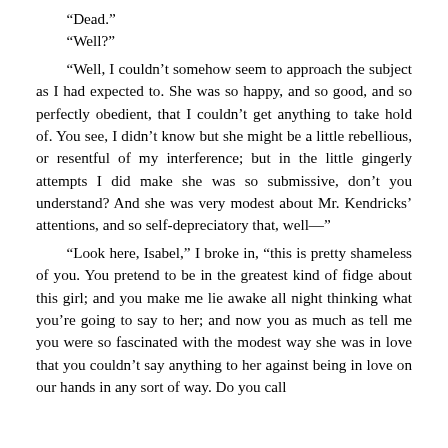“Dead.”
“Well?”
“Well, I couldn’t somehow seem to approach the subject as I had expected to. She was so happy, and so good, and so perfectly obedient, that I couldn’t get anything to take hold of. You see, I didn’t know but she might be a little rebellious, or resentful of my interference; but in the little gingerly attempts I did make she was so submissive, don’t you understand? And she was very modest about Mr. Kendricks’ attentions, and so self-depreciatory that, well—”
“Look here, Isabel,” I broke in, “this is pretty shameless of you. You pretend to be in the greatest kind of fidge about this girl; and you make me lie awake all night thinking what you’re going to say to her; and now you as much as tell me you were so fascinated with the modest way she was in love that you couldn’t say anything to her against being in love on our hands in any sort of way. Do you call